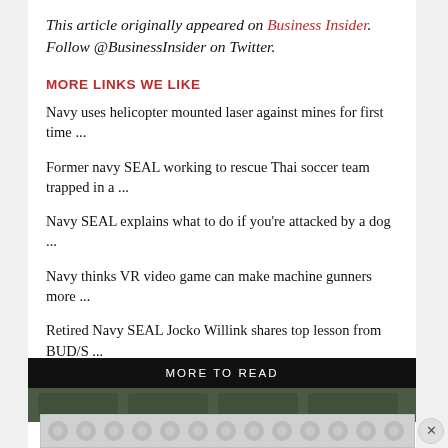This article originally appeared on Business Insider. Follow @BusinessInsider on Twitter.
MORE LINKS WE LIKE
Navy uses helicopter mounted laser against mines for first time ...
Former navy SEAL working to rescue Thai soccer team trapped in a ...
Navy SEAL explains what to do if you're attacked by a dog ...
Navy thinks VR video game can make machine gunners more ...
Retired Navy SEAL Jocko Willink shares top lesson from BUD/S ...
[Figure (other): MORE TO READ banner and image section below article]
[Figure (other): Advertisement strip with circular pattern dots]